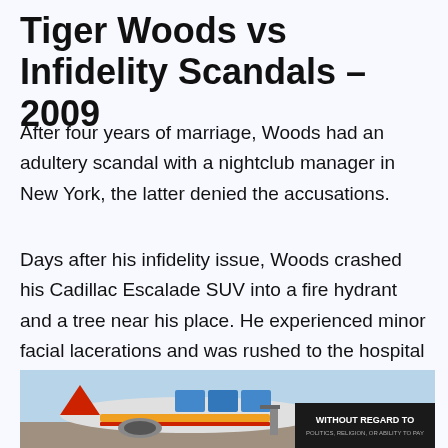Tiger Woods vs Infidelity Scandals – 2009
After four years of marriage, Woods had an adultery scandal with a nightclub manager in New York, the latter denied the accusations.
Days after his infidelity issue, Woods crashed his Cadillac Escalade SUV into a fire hydrant and a tree near his place. He experienced minor facial lacerations and was rushed to the hospital for treatment. He didn't join any tournament in 2009 due to this accident.
[Figure (photo): Photo of an airplane being loaded with cargo, with colorful livery. Partially visible advertisement overlay reading 'WITHOUT REGARD TO' in white text on dark background.]